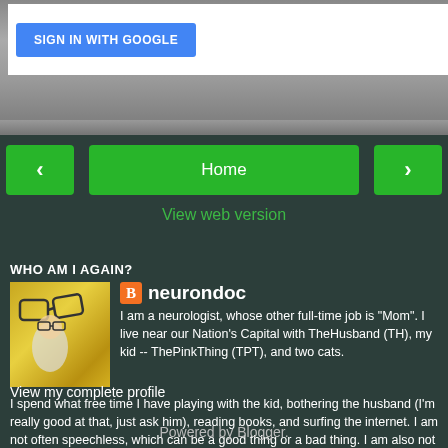[Figure (screenshot): Sign in with Google button (blue) on white background]
[Figure (infographic): Navigation bar with green left arrow, green Home button, green right arrow, and View web version link]
WHO AM I AGAIN?
[Figure (illustration): Profile illustration of a cartoon figure with glasses against golden/yellow background]
neurondoc
I am a neurologist, whose other full-time job is "Mom". I live near our Nation's Capital with TheHusband (TH), my kid -- ThePinkThing (TPT), and two cats. I spend what free time I have playing with the kid, bothering the husband (I'm really good at that, just ask him), reading books, and surfing the internet. I am not often speechless, which can be a good thing or a bad thing. I am also not often a shrinking violet, in case you were wondering.
View my complete profile
Powered by Blogger.